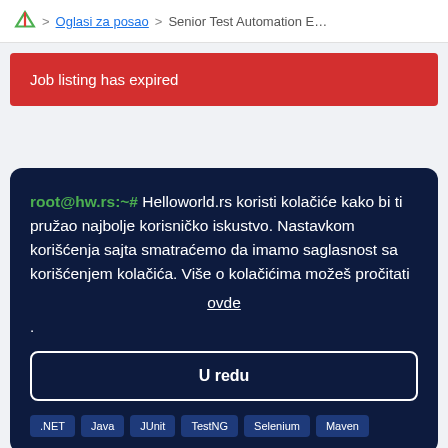Oglasi za posao > Senior Test Automation Engin...
Job listing has expired
root@hw.rs:~# Helloworld.rs koristi kolačiće kako bi ti pružao najbolje korisničko iskustvo. Nastavkom korišćenja sajta smatraćemo da imamo saglasnost sa korišćenjem kolačića. Više o kolačićima možeš pročitati ovde .
U redu
.NET
Java
JUnit
TestNG
Selenium
Maven